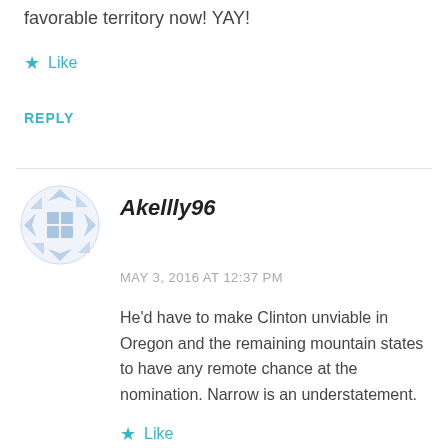favorable territory now! YAY!
★ Like
REPLY
[Figure (illustration): User avatar icon with geometric blue pattern on circular background]
Akellly96
MAY 3, 2016 AT 12:37 PM
He'd have to make Clinton unviable in Oregon and the remaining mountain states to have any remote chance at the nomination. Narrow is an understatement.
★ Like